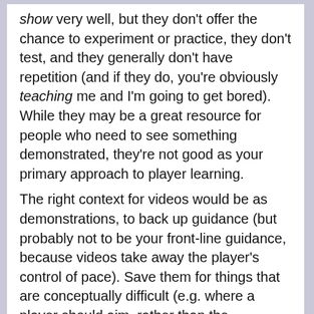show very well, but they don't offer the chance to experiment or practice, they don't test, and they generally don't have repetition (and if they do, you're obviously teaching me and I'm going to get bored). While they may be a great resource for people who need to see something demonstrated, they're not good as your primary approach to player learning.
The right context for videos would be as demonstrations, to back up guidance (but probably not to be your front-line guidance, because videos take away the player's control of pace). Save them for things that are conceptually difficult (e.g. where a player should aim, rather than the mechanics of aiming). Make them really short and focused, to minimise the time away from player control.
Remember the pattern above. The problem with